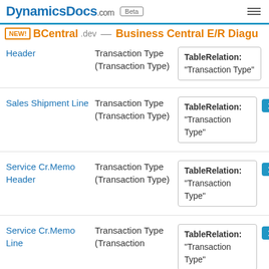DynamicsDocs.com Beta NEW! BCentral.dev — Business Central E/R Diag...
| Table | Field | Relation | Cardinality |
| --- | --- | --- | --- |
| Sales Shipment Header | Transaction Type (Transaction Type) | TableRelation: "Transaction Type" | 1..n |
| Sales Shipment Line | Transaction Type (Transaction Type) | TableRelation: "Transaction Type" | 1..n |
| Service Cr.Memo Header | Transaction Type (Transaction Type) | TableRelation: "Transaction Type" | 1..n |
| Service Cr.Memo Line | Transaction Type (Transaction Type) | TableRelation: "Transaction Type" | 1..n |